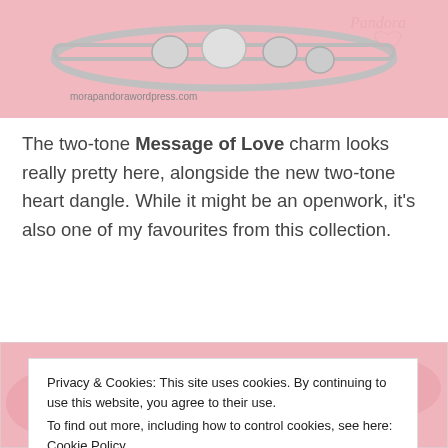[Figure (photo): A Pandora bracelet with heart charms on a pink background. Text 'morapandorawordpress.com' in bottom left and a Pandora watermark in top right.]
The two-tone Message of Love charm looks really pretty here, alongside the new two-tone heart dangle. While it might be an openwork, it's also one of my favourites from this collection.
[Figure (photo): Pandora Valentine's Day 2015 collection image on pink background with charms and ribbon.]
Privacy & Cookies: This site uses cookies. By continuing to use this website, you agree to their use. To find out more, including how to control cookies, see here: Cookie Policy
Close and accept